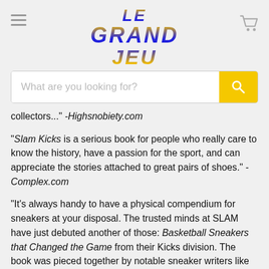LE GRAND JEU
[Figure (screenshot): Search bar with placeholder 'What are you looking for?' and yellow search button]
collectors..." -Highsnobiety.com
"Slam Kicks is a serious book for people who really care to know the history, have a passion for the sport, and can appreciate the stories attached to great pairs of shoes." -Complex.com
"It's always handy to have a physical compendium for sneakers at your disposal. The trusted minds at SLAM have just debuted another of those: Basketball Sneakers that Changed the Game from their Kicks division. The book was pieced together by notable sneaker writers like Scoop Jackson, Russ Bengtson,